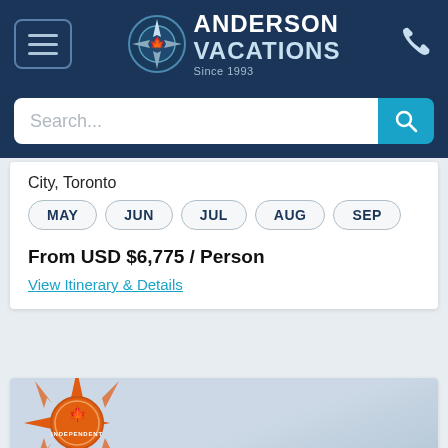[Figure (logo): Anderson Vacations logo with compass icon on dark navy header]
Search...
City, Toronto
MAY
JUN
JUL
AUG
SEP
From USD $6,775 / Person
View Itinerary & Details
[Figure (logo): Anderson Vacations Independent badge - orange compass with maple leaf on light blue background]